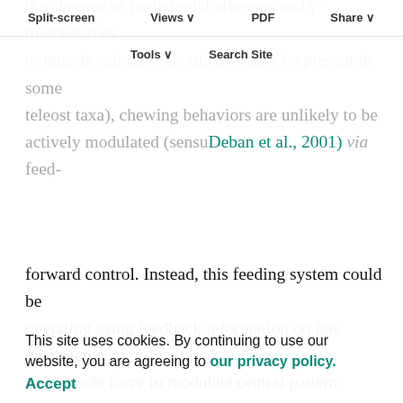Split-screen  Views  PDF  Share  Tools  Search Site
the absence of periodontal afferents and γ-motoneurons to muscle spindles (should the latter be present in some teleost taxa), chewing behaviors are unlikely to be actively modulated (sensu Deban et al., 2001) via feed-forward control. Instead, this feeding system could be operating using feedback information on jaw displacement and muscle force to modulate central pattern generator output in response to food properties, such as size, position, mobility, hardness and toughness. Given the absence of muscle spindles in fishes, displacement of the jaws could be detected by other peripheral sensors, such as joint receptors, and muscle force could be monitored either by a central mechanism such as efference copy, or by peripheral sensors, such as Golgi tendon organs or slowly-adapting touch receptors. Better anatomical data on peripheral sensory organs in fish feeding systems are
This site uses cookies. By continuing to use our website, you are agreeing to our privacy policy. Accept